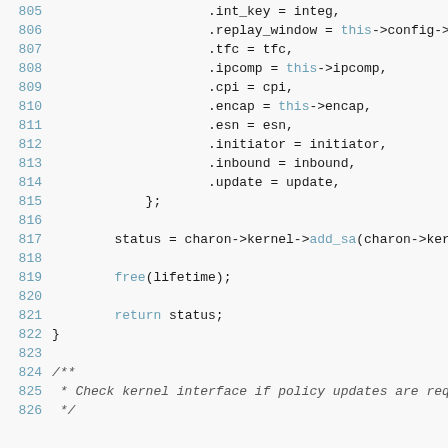[Figure (screenshot): Source code listing lines 805-826, showing C code for adding an SA (security association) via kernel interface. Lines 805-815 show struct field assignments, 817 shows a function call to add_sa, 819 shows free(lifetime), 821 shows return status, 822 closes the function, and 824-825 begin a doxygen comment about checking kernel interface for policy updates.]